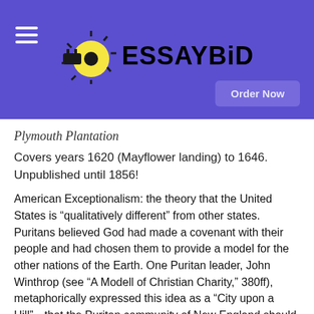[Figure (logo): EssayBid logo with hamburger menu icon on purple header background and Order Now button]
Plymouth Plantation
Covers years 1620 (Mayflower landing) to 1646. Unpublished until 1856!
American Exceptionalism: the theory that the United States is “qualitatively different” from other states. Puritans believed God had made a covenant with their people and had chosen them to provide a model for the other nations of the Earth. One Puritan leader, John Winthrop (see “A Modell of Christian Charity,” 380ff), metaphorically expressed this idea as a “City upon a Hill”—that the Puritan community of New England should serve as a model community for the rest of the world (p. 389, top; see also Matthew 5: 14-15 “You are the light of the world. A city set on a hill cannot be hidden. Nor do people light a lamp and put it under a basket, but on a